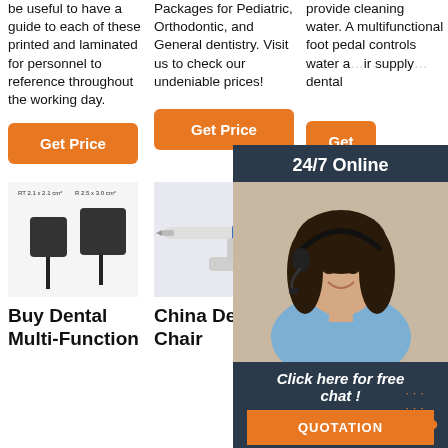be useful to have a guide to each of these printed and laminated for personnel to reference throughout the working day.
Packages for Pediatric, Orthodontic, and General dentistry. Visit us to check our undeniable prices!
provide cleaning water. A multifunctional foot pedal controls water and air supply dental
[Figure (other): Orange 'Get Price' button, column 1]
[Figure (other): Orange 'Get Price' button, column 2]
[Figure (other): Orange 'Get' button, column 3 (partially visible)]
[Figure (photo): Two dental sensor/x-ray plate devices with labels RT 2.1x2.1 cm and R 2.5x3.0 cm]
[Figure (photo): China dental chair handpiece / micromotor tool on lavender background]
[Figure (photo): Dental chair package component - green and grey unit]
[Figure (infographic): 24/7 Online popup overlay with woman wearing headset, 'Click here for free chat!' text, and QUOTATION orange button]
Buy Dental Multi-Function
China Dental Chair
Dental Chair Package